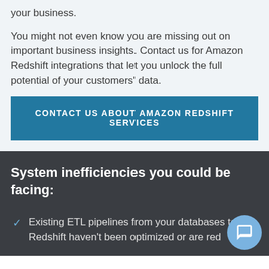your business.

You might not even know you are missing out on important business insights. Contact us for Amazon Redshift integrations that let you unlock the full potential of your customers' data.
CONTACT US ABOUT AMAZON REDSHIFT SERVICES
System inefficiencies you could be facing:
Existing ETL pipelines from your databases to Redshift haven't been optimized or are red...